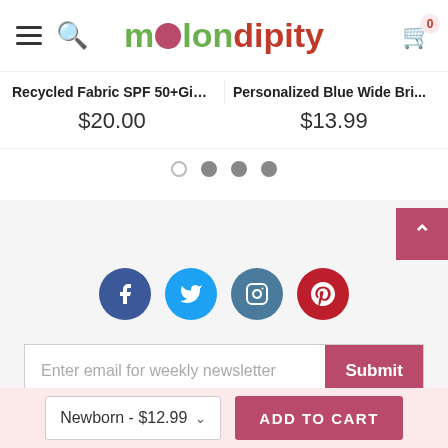[Figure (screenshot): Melondipity e-commerce website navigation bar with hamburger menu, search icon, logo, and cart icon showing 0 items]
Recycled Fabric SPF 50+Gim...
$20.00
Personalized Blue Wide Bri...
$13.99
[Figure (infographic): Carousel pagination dots: one empty circle and three filled grey circles]
[Figure (infographic): Social media buttons row: Facebook (dark blue), Twitter (light blue), Instagram (steel blue), Pinterest (red)]
[Figure (infographic): Email newsletter signup form with input field 'Enter email for weekly newsletter' and pink Submit button]
[Figure (infographic): Bottom add-to-cart bar with size selector 'Newborn - $12.99' and pink ADD TO CART button]